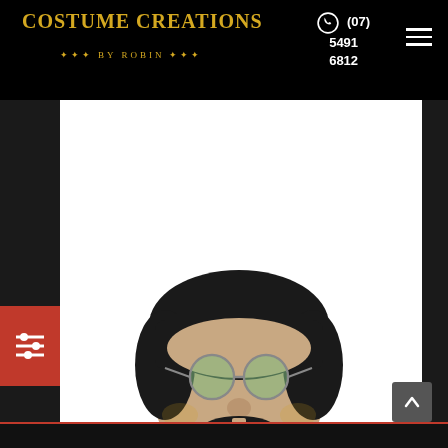COSTUME CREATIONS by Robin | (07) 5491 6812
[Figure (photo): Man wearing a 1970s Mersey wig (dark bowl-cut hair), round tinted glasses, a thick dark mustache, and a red satin jacket with gold chain necklace, smiling at camera against white background.]
1970'S MERSEY WIG AND TASH
$23.50